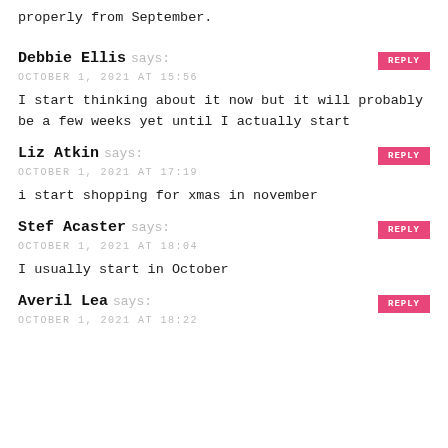properly from September.
Debbie Ellis says:
OCTOBER 1, 2021 AT 15:56
I start thinking about it now but it will probably be a few weeks yet until I actually start
Liz Atkin says:
OCTOBER 1, 2021 AT 17:19
i start shopping for xmas in november
Stef Acaster says:
OCTOBER 1, 2021 AT 18:04
I usually start in October
Averil Lea says:
OCTOBER 1, 2021 AT 18:22